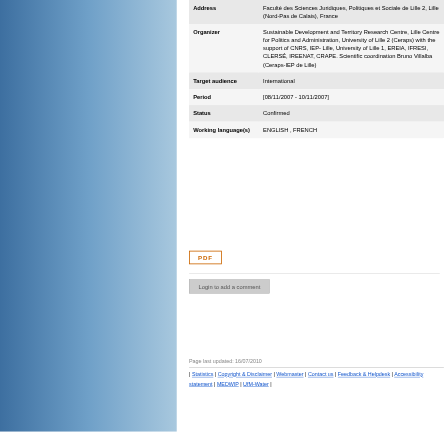| Field | Value |
| --- | --- |
| Address | Faculté des Sciences Juridiques, Politiques et Sociale de Lille 2, Lille (Nord-Pas de Calais), France |
| Organizer | Sustainable Development and Territory Research Centre, Lille Centre for Politics and Administration, University of Lille 2 (Ceraps) with the support of CNRS, IEP- Lille, University of Lille 1, EREIA, IFRESI, CLERSÉ, IREENAT, CRAPE. Scientific coordination Bruno Villalba (Ceraps-IEP de Lille) |
| Target audience | International |
| Period | [08/11/2007 - 10/11/2007] |
| Status | Confirmed |
| Working language(s) | ENGLISH , FRENCH |
PDF
Login to add a comment
Page last updated: 16/07/2010
| Statistics | Copyright & Disclaimer | Webmaster | Contact us | Feedback & Helpdesk | Accessibility statement | MEDWIP | UfM-Water |